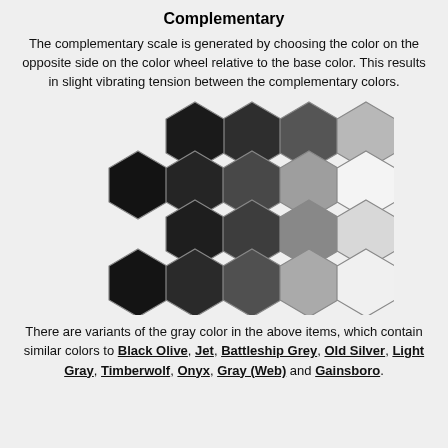Complementary
The complementary scale is generated by choosing the color on the opposite side on the color wheel relative to the base color. This results in slight vibrating tension between the complementary colors.
[Figure (illustration): A grid of hexagons arranged in a honeycomb pattern, showing a gradient from very dark (near black) on the left to near white on the right, representing a complementary color scale in greyscale. Five columns of hexagons, with 4 rows of offset hexagons forming a staggered grid.]
There are variants of the gray color in the above items, which contain similar colors to Black Olive, Jet, Battleship Grey, Old Silver, Light Gray, Timberwolf, Onyx, Gray (Web) and Gainsboro.